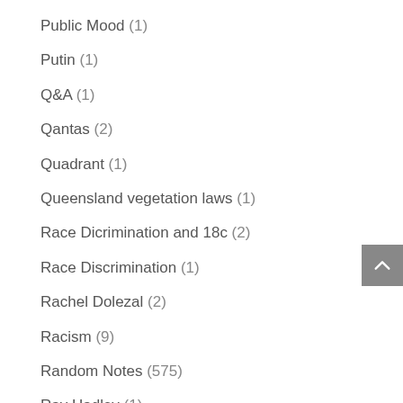Public Mood (1)
Putin (1)
Q&A (1)
Qantas (2)
Quadrant (1)
Queensland vegetation laws (1)
Race Dicrimination and 18c (2)
Race Discrimination (1)
Rachel Dolezal (2)
Racism (9)
Random Notes (575)
Ray Hadley (1)